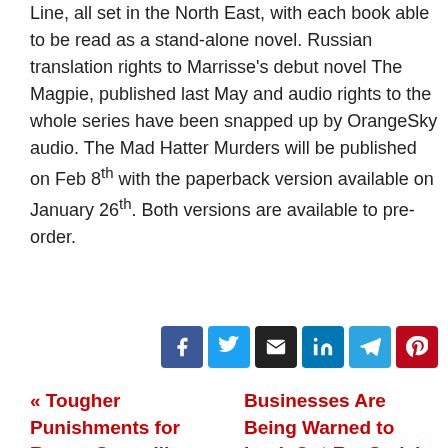Line, all set in the North East, with each book able to be read as a stand-alone novel. Russian translation rights to Marrisse's debut novel The Magpie, published last May and audio rights to the whole series have been snapped up by OrangeSky audio. The Mad Hatter Murders will be published on Feb 8th with the paperback version available on January 26th. Both versions are available to pre-order.
[Figure (other): Social sharing buttons: Facebook, Twitter, Email, LinkedIn, Telegram, Pinterest]
« Tougher Punishments for Rogue Councillors Needed, say
Businesses Are Being Warned to Look Out For Serial "Charity Pot Thief"